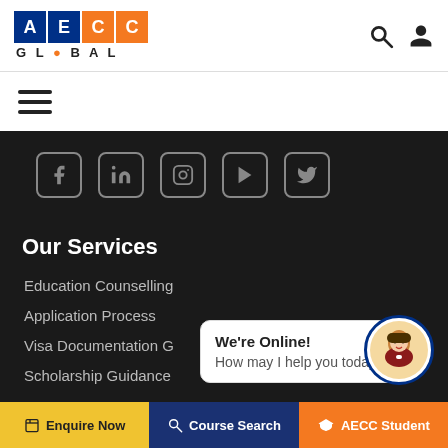[Figure (logo): AECC Global logo with colored letter boxes and globe icon]
[Figure (illustration): Search and user account icons in header]
[Figure (illustration): Hamburger menu icon (three horizontal lines)]
[Figure (illustration): Social media icons: Facebook, LinkedIn, Instagram, YouTube, Twitter]
Our Services
Education Counselling
Application Process
Visa Documentation G...
Scholarship Guidance
We're Online!
How may I help you today?
[Figure (illustration): Chat bot avatar - cartoon character]
Enquire Now | Course Search | AECC Student